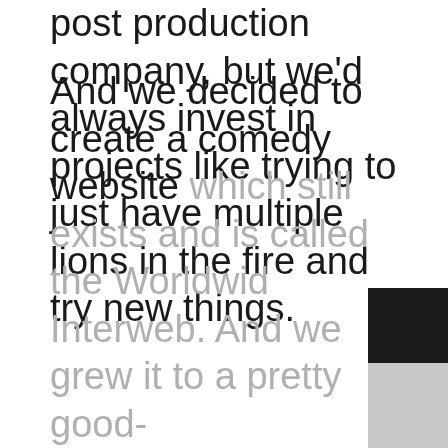post production company, but we'd always invest in projects like trying to just have multiple lions in the fire and try new things.
And we decided to create a comedy website which still exists and is called the Worldwide Interweb. And we grew it to a pretty good-